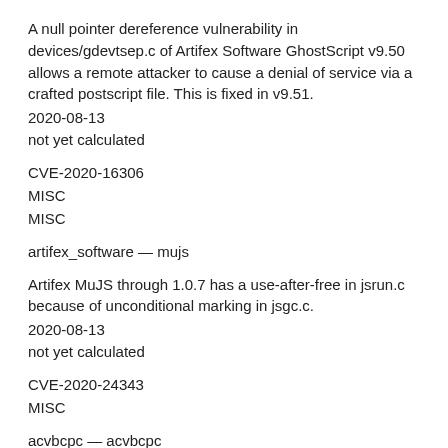A null pointer dereference vulnerability in devices/gdevtsep.c of Artifex Software GhostScript v9.50 allows a remote attacker to cause a denial of service via a crafted postscript file. This is fixed in v9.51.
2020-08-13
not yet calculated
CVE-2020-16306
MISC
MISC
artifex_software — mujs
Artifex MuJS through 1.0.7 has a use-after-free in jsrun.c because of unconditional marking in jsgc.c.
2020-08-13
not yet calculated
CVE-2020-24343
MISC
acvbcpc — acvbcpc